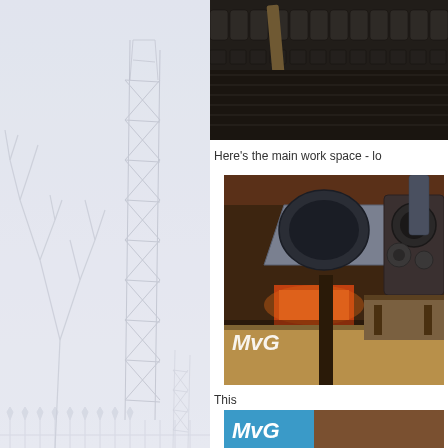[Figure (photo): Misty outdoor scene with bare tree branches and tall lattice metal tower structures in fog, with iron fence at bottom]
[Figure (photo): Close-up of industrial machinery parts - dark metal components, rollers or cylinders in a row]
Here's the main work space - lo
[Figure (photo): Interior of industrial workshop or forge with large equipment, metal ductwork, and warm glowing furnace light, with MNG signature watermark]
This
[Figure (photo): Partial view of another photo with MNG watermark logo on blue background]